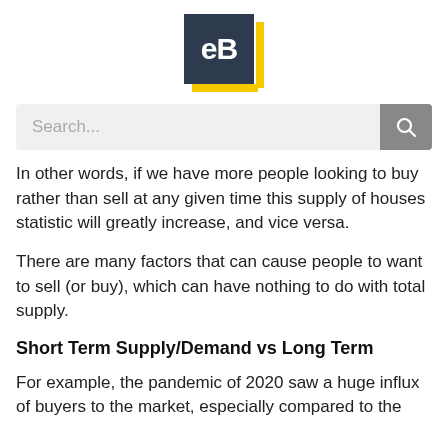[Figure (logo): eB logo: dark navy square with white 'eB' text, yellow accent bars on bottom and right]
[Figure (screenshot): Search bar with placeholder text 'Search...' and a grey search button with magnifying glass icon]
In other words, if we have more people looking to buy rather than sell at any given time this supply of houses statistic will greatly increase, and vice versa.
There are many factors that can cause people to want to sell (or buy), which can have nothing to do with total supply.
Short Term Supply/Demand vs Long Term
For example, the pandemic of 2020 saw a huge influx of buyers to the market, especially compared to the